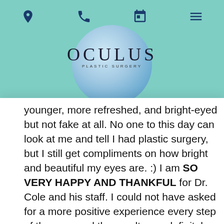[Figure (logo): Oculus Plastic Surgery logo with blue circular gradient and serif text reading OCULUS PLASTIC SURGERY]
younger, more refreshed, and bright-eyed but not fake at all. No one to this day can look at me and tell I had plastic surgery, but I still get compliments on how bright and beautiful my eyes are. :) I am SO VERY HAPPY AND THANKFUL for Dr. Cole and his staff. I could not have asked for a more positive experience every step of the way, and the results are definitely